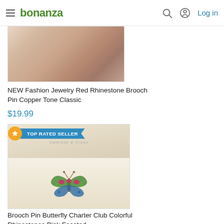bonanza — Log in
[Figure (photo): Partial product image of a copper/rose-toned jewelry item, cropped at top]
NEW Fashion Jewelry Red Rhinestone Brooch Pin Copper Tone Classic
$19.99
[Figure (photo): Butterfly brooch pin in a white gift box — colorful rhinestones, pink faceted gems, green and blue accents on wings, gold tone setting. TOP RATED SELLER badge shown.]
Brooch Pin Butterfly Charter Club Colorful Rhinestones Pink Faceted